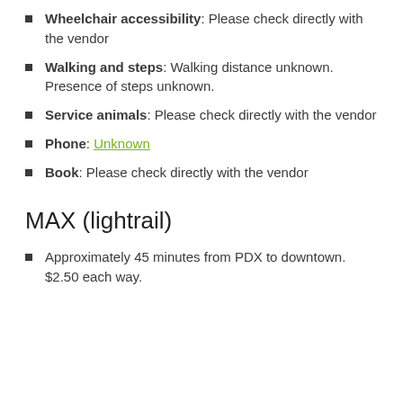Wheelchair accessibility: Please check directly with the vendor
Walking and steps: Walking distance unknown. Presence of steps unknown.
Service animals: Please check directly with the vendor
Phone: Unknown
Book: Please check directly with the vendor
MAX (lightrail)
Approximately 45 minutes from PDX to downtown. $2.50 each way.